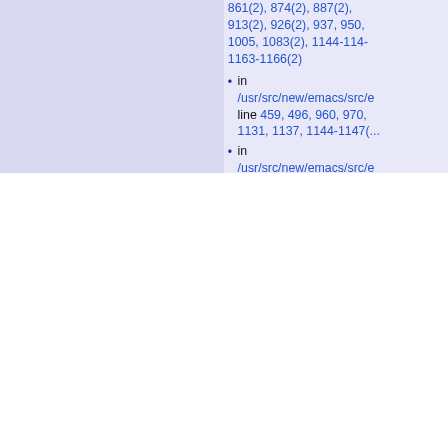861(2), 874(2), 887(2), 913(2), 926(2), 937, 950, 1005, 1083(2), 1144-11..., 1163-1166(2)
in /usr/src/new/emacs/src/... line 459, 496, 960, 970, 1131, 1137, 1144-1147(...)
in /usr/src/new/emacs/src/... line 125
in /usr/src/new/emacs/src/... line 131, 179, 367-369(...), 463, 490-491(2), 527, 5..., 572-577(3), 585, 602(2), 629(2), 636-637(4), 674-675(2), 769, 833-834(4...)
in /usr/src/new/emacs/src/... line 354
in /usr/src/new/emacs/src/... line 1317-1318(2), 1334-1338(2), 1348-1350(2)